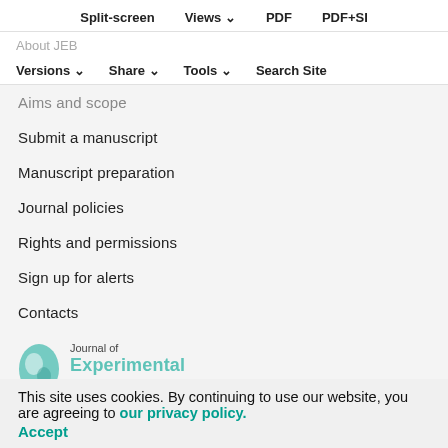Split-screen   Views ∨   PDF   PDF+SI
About JEB
Versions ∨   Share ∨   Tools ∨   Search Site
Aims and scope
Submit a manuscript
Manuscript preparation
Journal policies
Rights and permissions
Sign up for alerts
Contacts
[Figure (logo): Journal of Experimental Biology logo with teal circular icon]
This site uses cookies. By continuing to use our website, you are agreeing to our privacy policy. Accept